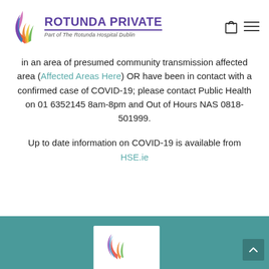[Figure (logo): Rotunda Private logo with colorful swirl icon, text 'ROTUNDA PRIVATE' in purple bold, subtitle 'Part of The Rotunda Hospital Dublin' in italic gray, plus shopping bag and hamburger menu icons]
in an area of presumed community transmission affected area (Affected Areas Here) OR have been in contact with a confirmed case of COVID-19; please contact Public Health on 01 6352145 8am-8pm and Out of Hours NAS 0818-501999.
Up to date information on COVID-19 is available from HSE.ie